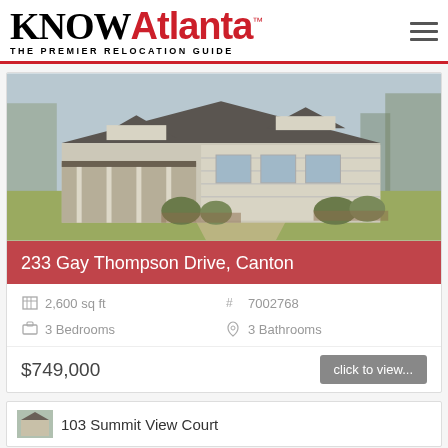KNOW Atlanta™ THE PREMIER RELOCATION GUIDE
[Figure (photo): Exterior photo of a large house with gray siding, covered porch, dormers, and landscaped lawn at 233 Gay Thompson Drive, Canton]
233 Gay Thompson Drive, Canton
2,600 sq ft   #7002768   3 Bedrooms   3 Bathrooms
$749,000   click to view...
103 Summit View Court